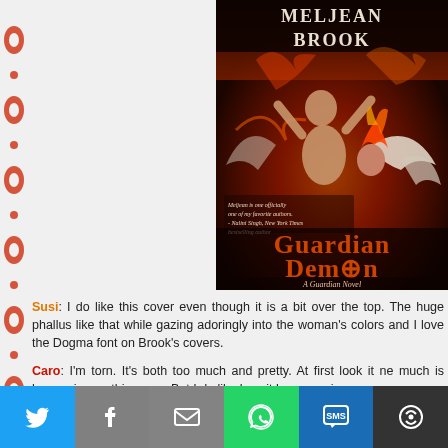[Figure (illustration): Book cover of 'Guardian Demon' by Meljean Brook. Shows a shirtless winged male figure with a woman with fiery hair, orange/red flame background. Title in large orange gothic font 'Guardian Demon', subtitle 'A Guardian Novel'. Author name 'Meljean Brook' at top.]
Susi: I do like this cover even though it is a bit over the top. The huge phallus like that while gazing adoringly into the woman's colors and I love the Dogma font on Brook's covers.
Caro: I'm torn. It's both too much and pretty. At first look it ne much is happening on this cover. But I do like how it has an epi
[Figure (infographic): Social sharing bar with Twitter (blue), Facebook (gray), Email (gray), WhatsApp (green), SMS (blue), More (dark) buttons with white icons.]